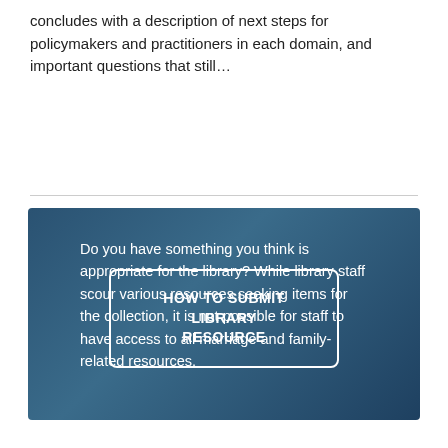concludes with a description of next steps for policymakers and practitioners in each domain, and important questions that still…
[Figure (other): Dark blue background box containing text about library resource submission and a button labeled HOW TO SUBMIT LIBRARY RESOURCE]